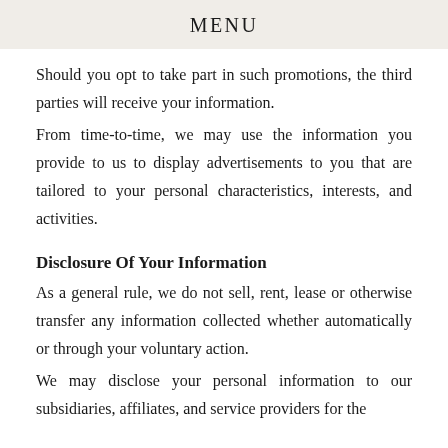MENU
Should you opt to take part in such promotions, the third parties will receive your information.
From time-to-time, we may use the information you provide to us to display advertisements to you that are tailored to your personal characteristics, interests, and activities.
Disclosure Of Your Information
As a general rule, we do not sell, rent, lease or otherwise transfer any information collected whether automatically or through your voluntary action.
We may disclose your personal information to our subsidiaries, affiliates, and service providers for the